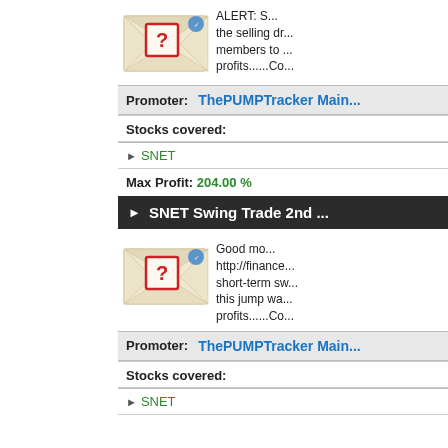[Figure (illustration): Envelope with red question mark stamp and blue seal, partially visible]
ALERT: S... the selling dr... members to ... profits......Co...
Promoter: ThePUMPTracker Main...
Stocks covered:
SNET
Max Profit: 204.00 %
SNET Swing Trade 2nd ...
[Figure (illustration): Envelope with red question mark stamp and blue seal]
Good mo... http://finance... short-term sw... this jump wa... profits......Co...
Promoter: ThePUMPTracker Main...
Stocks covered:
SNET